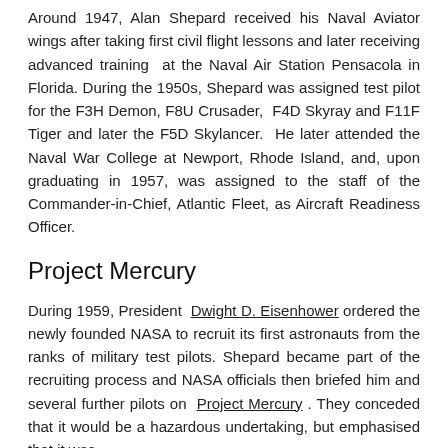Around 1947, Alan Shepard received his Naval Aviator wings after taking first civil flight lessons and later receiving advanced training at the Naval Air Station Pensacola in Florida. During the 1950s, Shepard was assigned test pilot for the F3H Demon, F8U Crusader, F4D Skyray and F11F Tiger and later the F5D Skylancer. He later attended the Naval War College at Newport, Rhode Island, and, upon graduating in 1957, was assigned to the staff of the Commander-in-Chief, Atlantic Fleet, as Aircraft Readiness Officer.
Project Mercury
During 1959, President Dwight D. Eisenhower ordered the newly founded NASA to recruit its first astronauts from the ranks of military test pilots. Shepard became part of the recruiting process and NASA officials then briefed him and several further pilots on Project Mercury. They conceded that it would be a hazardous undertaking, but emphasised that it was